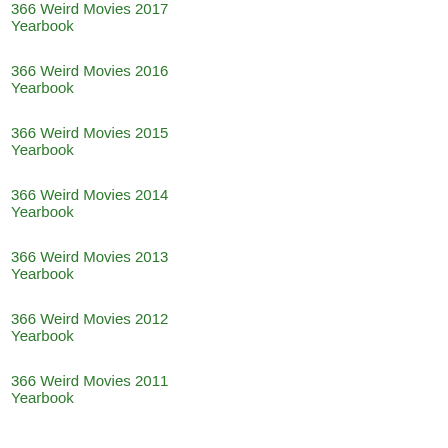366 Weird Movies 2017 Yearbook
366 Weird Movies 2016 Yearbook
366 Weird Movies 2015 Yearbook
366 Weird Movies 2014 Yearbook
366 Weird Movies 2013 Yearbook
366 Weird Movies 2012 Yearbook
366 Weird Movies 2011 Yearbook